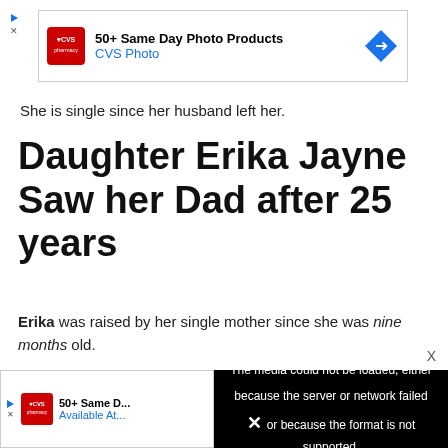[Figure (screenshot): CVS Pharmacy advertisement banner: '50+ Same Day Photo Products' and 'CVS Photo' with CVS logo and blue arrow icon]
She is single since her husband left her.
Daughter Erika Jayne Saw her Dad after 25 years
Erika was raised by her single mother since she was nine months old.
[Figure (screenshot): Video player overlay with black background showing error message: 'The media could not be loaded, either because the server or network failed or because the format is not supported.' with an X close button]
[Figure (screenshot): CVS Pharmacy advertisement banner (partial): '50+ Same Day' and 'Available At' with CVS logo]